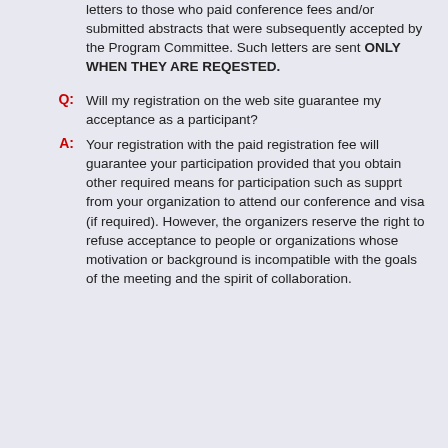letters to those who paid conference fees and/or submitted abstracts that were subsequently accepted by the Program Committee. Such letters are sent ONLY WHEN THEY ARE REQESTED.
Q:
Will my registration on the web site guarantee my acceptance as a participant?
A:
Your registration with the paid registration fee will guarantee your participation provided that you obtain other required means for participation such as supprt from your organization to attend our conference and visa (if required). However, the organizers reserve the right to refuse acceptance to people or organizations whose motivation or background is incompatible with the goals of the meeting and the spirit of collaboration.